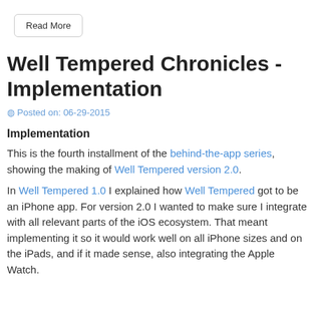Read More
Well Tempered Chronicles - Implementation
Posted on: 06-29-2015
Implementation
This is the fourth installment of the behind-the-app series, showing the making of Well Tempered version 2.0.
In Well Tempered 1.0 I explained how Well Tempered got to be an iPhone app. For version 2.0 I wanted to make sure I integrate with all relevant parts of the iOS ecosystem. That meant implementing it so it would work well on all iPhone sizes and on the iPads, and if it made sense, also integrating the Apple Watch.